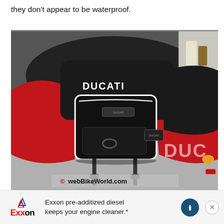they don't appear to be waterproof.
[Figure (photo): A black motorcycle tank bag with white trim and reflective piping, branded Ducati, strapped to the tank of a red Ducati motorcycle. Another Ducati motorcycle is visible in the background. Watermark reads '© webBikeWorld.com'.]
Exxon pre-additized diesel keeps your engine cleaner.*